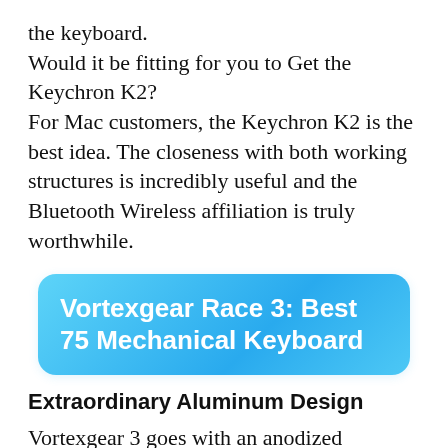the keyboard.
Would it be fitting for you to Get the Keychron K2?
For Mac customers, the Keychron K2 is the best idea. The closeness with both working structures is incredibly useful and the Bluetooth Wireless affiliation is truly worthwhile.
Vortexgear Race 3: Best 75 Mechanical Keyboard
Extraordinary Aluminum Design
Vortexgear 3 goes with an anodized aluminum case that feels intense and significant. This makes the keyboard feel solid and totally stable and...